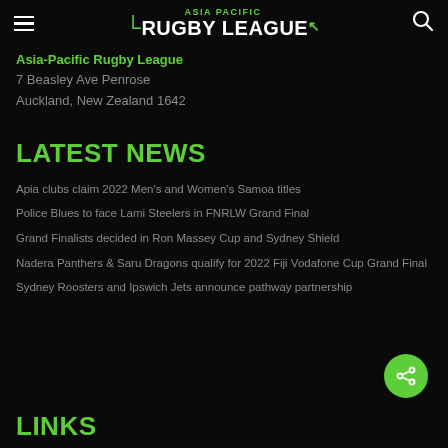Asia Pacific Rugby League
Asia-Pacific Rugby League
7 Beasley Ave Penrose
Auckland, New Zealand 1642
LATEST NEWS
Apia clubs claim 2022 Men's and Women's Samoa titles
Police Blues to face Lami Steelers in FNRLW Grand Final
Grand Finalists decided in Ron Massey Cup and Sydney Shield
Nadera Panthers & Saru Dragons qualify for 2022 Fiji Vodafone Cup Grand Final
Sydney Roosters and Ipswich Jets announce pathway partnership
LINKS